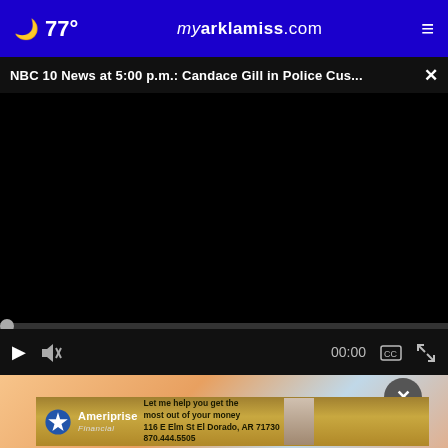77° myarklamiss.com
NBC 10 News at 5:00 p.m.: Candace Gill in Police Cus...
[Figure (screenshot): Black video player area, currently empty/loading]
[Figure (screenshot): Video player controls bar showing play button, mute icon, time 00:00, captions button, and fullscreen button]
[Figure (photo): Partial article image visible below video player, warm orange and blue tones]
[Figure (infographic): Ameriprise Financial advertisement banner: 'Let me help you get the most out of your money, 116 E Elm St El Dorado, AR 71730, 870.444.5505']